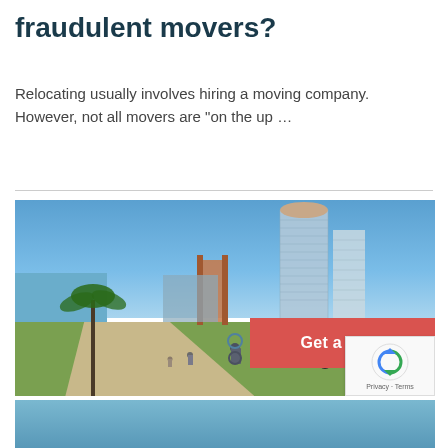fraudulent movers?
Relocating usually involves hiring a moving company. However, not all movers are “on the up …
[Figure (photo): Outdoor waterfront promenade scene with cyclists and pedestrians on a sunny day. Tall modern skyscrapers visible in the background against a blue sky with scattered clouds. Palm trees and green lawn on the right side. A red banner overlay reads 'Get a Quote'. A reCAPTCHA privacy badge appears in the lower right corner.]